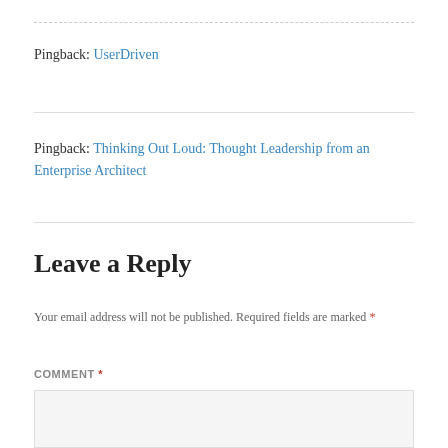Pingback: UserDriven
Pingback: Thinking Out Loud: Thought Leadership from an Enterprise Architect
Leave a Reply
Your email address will not be published. Required fields are marked *
COMMENT *